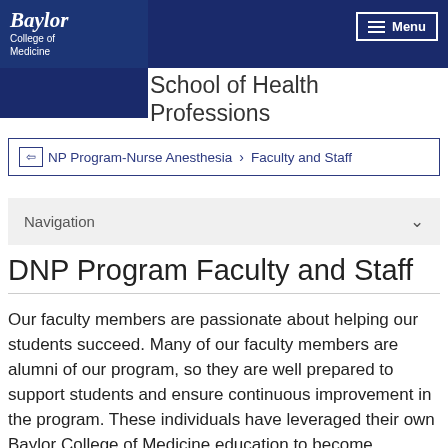Baylor College of Medicine
School of Health Professions
DNP Program-Nurse Anesthesia > Faculty and Staff
Navigation
DNP Program Faculty and Staff
Our faculty members are passionate about helping our students succeed. Many of our faculty members are alumni of our program, so they are well prepared to support students and ensure continuous improvement in the program. These individuals have leveraged their own Baylor College of Medicine education to become